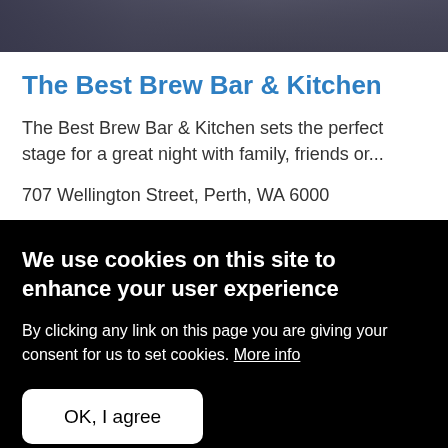[Figure (photo): Dark interior photo of The Best Brew Bar & Kitchen, cropped at the top showing people in a dimly lit bar environment]
The Best Brew Bar & Kitchen
The Best Brew Bar & Kitchen sets the perfect stage for a great night with family, friends or...
707 Wellington Street, Perth, WA 6000
We use cookies on this site to enhance your user experience
By clicking any link on this page you are giving your consent for us to set cookies. More info
OK, I agree